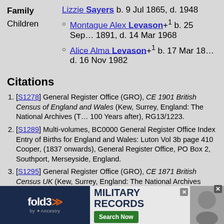Family   Lizzie Sayers b. 9 Jul 1865, d. 1948
Montague Alex Levason+1 b. 25 Sep 1891, d. 14 Mar 1968
Alice Alma Levason+1 b. 17 Mar 18[...], d. 16 Nov 1982
Citations
[S1278] General Register Office (GRO), CE 1901 British Census of England and Wales (Kew, Surrey, England: The National Archives (T..., 100 Years after), RG13/1223.
[S1289] Multi-volumes, BC0000 General Register Office Index Entry of Births for England and Wales: Luton Vol 3b page 410 Cooper, (1837 onwards), General Register Office, PO Box 2, Southport, Merseyside, England.
[S1295] General Register Office (GRO), CE 1871 British Census UK (Kew, Surrey, England: The National Archives (TNA), 100 Years after), RG10/1629.
[S598] General Register Office (GRO), CE 1881 British Census England, Scotland, Wales, Channel Islands, Isle of Man, and Royal Navy (Kew, Surrey, England: The National Archives (TNA), 100 Years after), RG11/171.
[S1290] Multi-volumes, MC0000 General Register Office Index Entry of Ma..., (1837 onwards), General Register Office, PO Box 2, Southport, Merseyside, En...
[Figure (other): fold3 MILITARY RECORDS advertisement banner by ancestry]